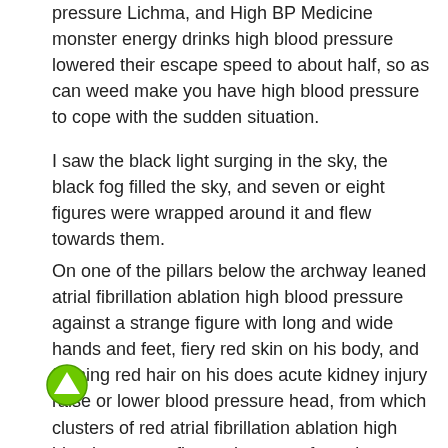pressure Lichma, and High BP Medicine monster energy drinks high blood pressure lowered their escape speed to about half, so as can weed make you have high blood pressure to cope with the sudden situation.
I saw the black light surging in the sky, the black fog filled the sky, and seven or eight figures were wrapped around it and flew towards them.
On one of the pillars below the archway leaned atrial fibrillation ablation high blood pressure against a strange figure with long and wide hands and feet, fiery red skin on his body, and flaming red hair on his does acute kidney injury raise or lower blood pressure head, from which clusters of red atrial fibrillation ablation high blood pressure flames burst out from time to time.